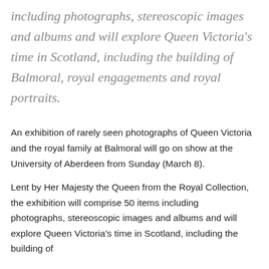including photographs, stereoscopic images and albums and will explore Queen Victoria's time in Scotland, including the building of Balmoral, royal engagements and royal portraits.
An exhibition of rarely seen photographs of Queen Victoria and the royal family at Balmoral will go on show at the University of Aberdeen from Sunday (March 8).
Lent by Her Majesty the Queen from the Royal Collection, the exhibition will comprise 50 items including photographs, stereoscopic images and albums and will explore Queen Victoria's time in Scotland, including the building of